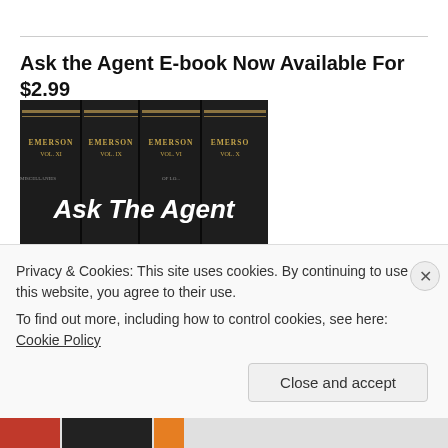Ask the Agent E-book Now Available For $2.99
[Figure (photo): Book cover image showing old dark-bound Emerson volumes (Vol. XI, Vol. IX, Vol. VI, Vol. X) with text overlaid: 'Ask The Agent' and 'Night Thoughts on Writing and Book Publishing']
Privacy & Cookies: This site uses cookies. By continuing to use this website, you agree to their use.
To find out more, including how to control cookies, see here: Cookie Policy
Close and accept